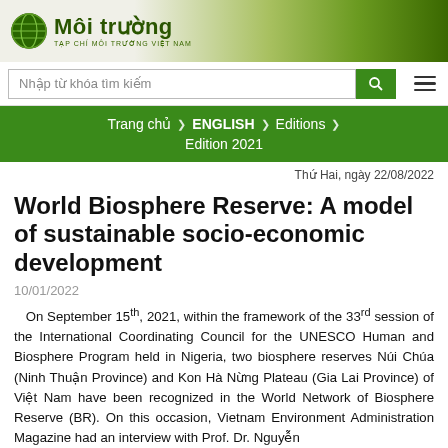[Figure (logo): Môi trường magazine logo with globe icon and green leaf background banner]
Nhập từ khóa tìm kiếm
Trang chủ ❯ ENGLISH ❯ Editions ❯ Edition 2021
Thứ Hai, ngày 22/08/2022
World Biosphere Reserve: A model of sustainable socio-economic development
10/01/2022
On September 15th, 2021, within the framework of the 33rd session of the International Coordinating Council for the UNESCO Human and Biosphere Program held in Nigeria, two biosphere reserves Núi Chúa (Ninh Thuận Province) and Kon Hà Nừng Plateau (Gia Lai Province) of Việt Nam have been recognized in the World Network of Biosphere Reserve (BR). On this occasion, Vietnam Environment Administration Magazine had an interview with Prof. Dr. Nguyễn